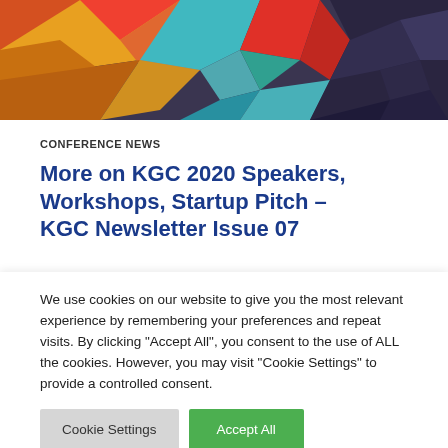[Figure (illustration): Colorful low-poly geometric abstract banner image with red, orange, yellow, teal, and dark purple triangular shapes]
CONFERENCE NEWS
More on KGC 2020 Speakers, Workshops, Startup Pitch – KGC Newsletter Issue 07
We use cookies on our website to give you the most relevant experience by remembering your preferences and repeat visits. By clicking “Accept All”, you consent to the use of ALL the cookies. However, you may visit "Cookie Settings" to provide a controlled consent.
Cookie Settings
Accept All